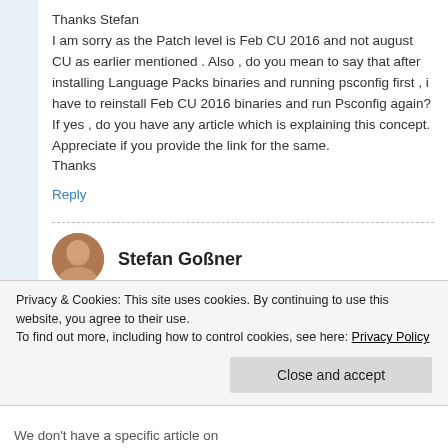Thanks Stefan
I am sorry as the Patch level is Feb CU 2016 and not august CU as earlier mentioned . Also , do you mean to say that after installing Language Packs binaries and running psconfig first , i have to reinstall Feb CU 2016 binaries and run Psconfig again? If yes , do you have any article which is explaining this concept. Appreciate if you provide the link for the same.
Thanks
Reply
Stefan Goßner
Privacy & Cookies: This site uses cookies. By continuing to use this website, you agree to their use.
To find out more, including how to control cookies, see here: Privacy Policy
Close and accept
We don't have a specific article on